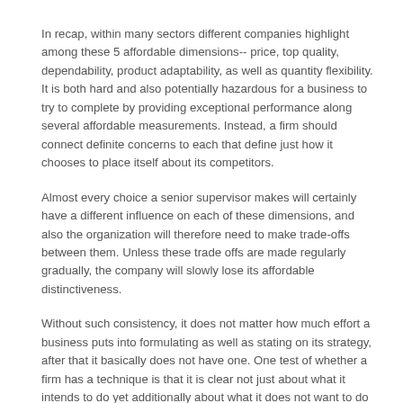In recap, within many sectors different companies highlight among these 5 affordable dimensions-- price, top quality, dependability, product adaptability, as well as quantity flexibility. It is both hard and also potentially hazardous for a business to try to complete by providing exceptional performance along several affordable measurements. Instead, a firm should connect definite concerns to each that define just how it chooses to place itself about its competitors.
Almost every choice a senior supervisor makes will certainly have a different influence on each of these dimensions, and also the organization will therefore need to make trade-offs between them. Unless these trade offs are made regularly gradually, the company will slowly lose its affordable distinctiveness.
Without such consistency, it does not matter how much effort a business puts into formulating as well as stating on its strategy, after that it basically does not have one. One test of whether a firm has a technique is that it is clear not just about what it intends to do yet additionally about what it does not want to do as well as what proposals it will continually claim no to.